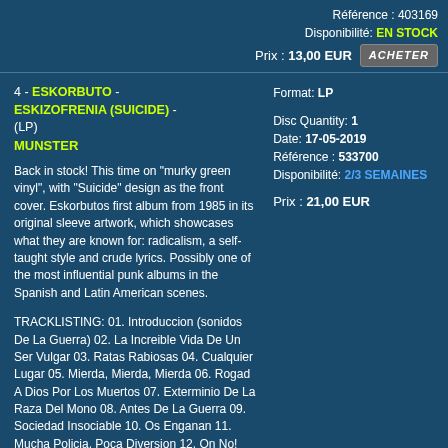Référence : 403169
Disponibilité: EN STOCK
Prix : 13,00 EUR  [ACHETER]
4 - ESKORBUTO - ESKIZOFRENIA (SUICIDE) - (LP)
MUNSTER
Format: LP
Disc Quantity: 1
Date: 17-05-2019
Référence : 533700
Disponibilité: 2/3 SEMAINES
Prix : 21,00 EUR
Back in stock! This time on "murky green vinyl", with "Suicide" design as the front cover. Eskorbutos first album from 1985 in its original sleeve artwork, which showcases what they are known for: radicalism, a self-taught style and crude lyrics. Possibly one of the most influential punk albums in the Spanish and Latin American scenes.
TRACKLISTING: 01. Introduccion (sonidos De La Guerra) 02. La Increible Vida De Un Ser Vulgar 03. Ratas Rabiosas 04. Cualquier Lugar 05. Mierda, Mierda, Mierda 06. Rogad A Dios Por Los Muertos 07. Exterminio De La Raza Del Mono 08. Antes De La Guerra 09. Sociedad Insociable 10. Os Enganan 11. Mucha Policia, Poca Diversion 12. On No! Policia En Accion 13. Nadie Es Inocente 14. Busco En La Basura 15. Eskizofrenia 16. Criaturas Al